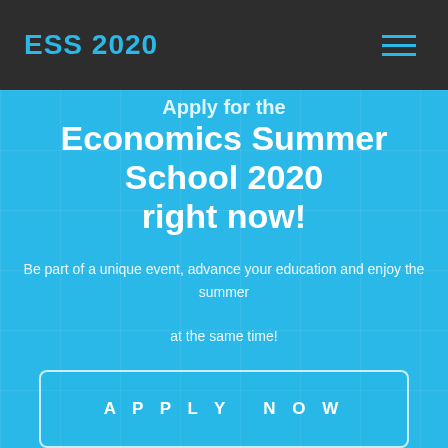ESS 2020
Apply for the Economics Summer School 2020 right now!
Be part of a unique event, advance your education and enjoy the summer at the same time!
APPLY NOW